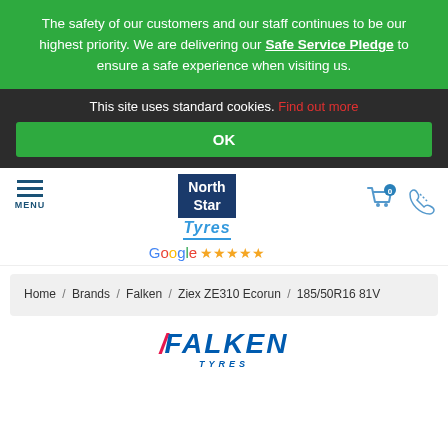The safety of our customers and our staff continues to be our highest priority. We are delivering our Safe Service Pledge to ensure a safe experience when visiting us.
This site uses standard cookies. Find out more
OK
[Figure (logo): North Star Tyres logo with Google 5-star rating, menu icon, cart and phone icons]
Home / Brands / Falken / Ziex ZE310 Ecorun / 185/50R16 81V
[Figure (logo): Falken Tyres logo in blue with red slash mark and TYRES text below]